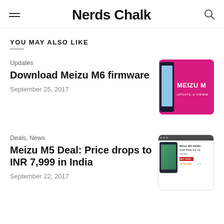Nerds Chalk
YOU MAY ALSO LIKE
Updates
Download Meizu M6 firmware
September 25, 2017
[Figure (photo): Meizu M6 update and firmware card on magenta background]
Deals, News
Meizu M5 Deal: Price drops to INR 7,999 in India
September 22, 2017
[Figure (screenshot): Meizu M5 product listing screenshot on e-commerce site]